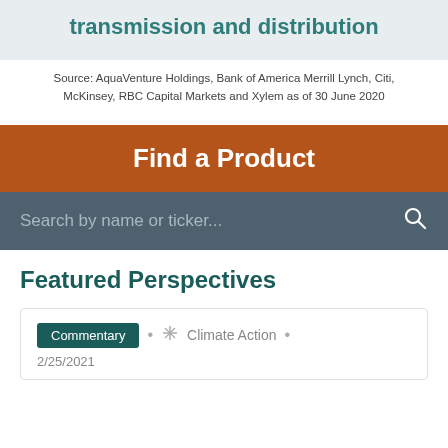transmission and distribution
Source: AquaVenture Holdings, Bank of America Merrill Lynch, Citi, McKinsey, RBC Capital Markets and Xylem as of 30 June 2020
Find a Product
Search by name or ticker...
Featured Perspectives
Commentary • Climate Action •
2/25/2021